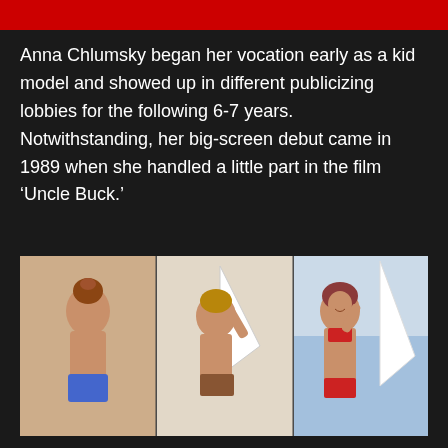[Figure (photo): Red banner at top of page]
Anna Chlumsky began her vocation early as a kid model and showed up in different publicizing lobbies for the following 6-7 years. Notwithstanding, her big-screen debut came in 1989 when she handled a little part in the film ‘Uncle Buck.’
[Figure (photo): Three side-by-side photos showing a woman in swimwear poses: left photo shows back view in blue swimsuit, middle photo shows back view in brown bikini near a sailboat, right photo shows front view in red bikini near a sailboat]